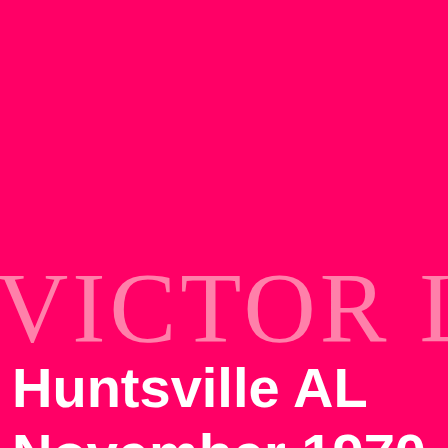VICTOR LOV
Huntsville AL
November 1970